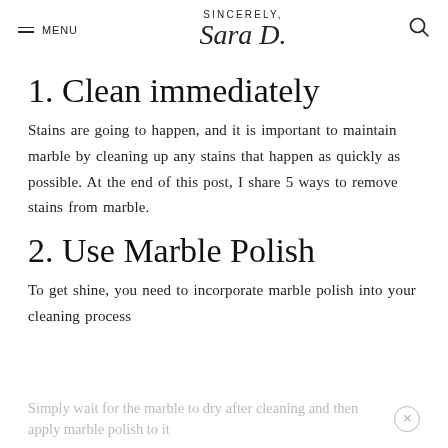MENU | SINCERELY, Sara D. | [search icon]
1. Clean immediately
Stains are going to happen, and it is important to maintain marble by cleaning up any stains that happen as quickly as possible. At the end of this post, I share 5 ways to remove stains from marble.
2. Use Marble Polish
To get shine, you need to incorporate marble polish into your cleaning process
Simply wait for the marble to dry after cleaning and then apply marble polish to it